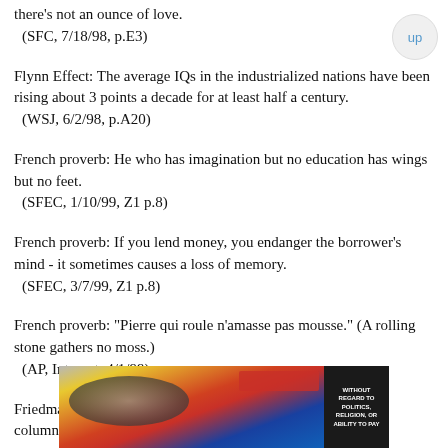there's not an ounce of love.
 (SFC, 7/18/98, p.E3)
Flynn Effect: The average IQs in the industrialized nations have been rising about 3 points a decade for at least half a century.
 (WSJ, 6/2/98, p.A20)
French proverb: He who has imagination but no education has wings but no feet.
 (SFEC, 1/10/99, Z1 p.8)
French proverb: If you lend money, you endanger the borrower's mind - it sometimes causes a loss of memory.
 (SFEC, 3/7/99, Z1 p.8)
French proverb: "Pierre qui roule n'amasse pas mousse." (A rolling stone gathers no moss.)
 (AP, Internet, 4/1/99)
Friedman's Theory, proposed in 1996 by the New York Times columnist: "No two countries
[Figure (photo): Advertisement showing an airplane being loaded with cargo, with text 'WITHOUT REGARD TO POLITICS, RELIGION, OR ABILITY TO PAY']